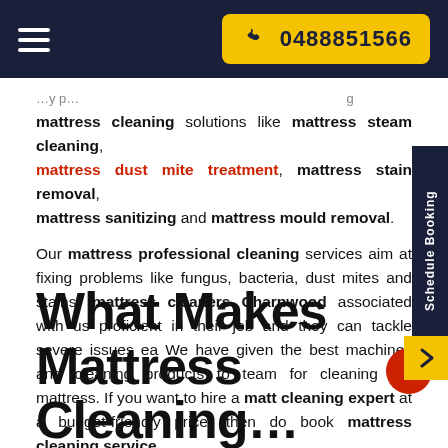0488851566
mattress cleaning solutions like mattress steam cleaning, mattress dust mite treatment, mattress stain removal, mattress sanitizing and mattress mould removal.
Our mattress professional cleaning services aim at fixing problems like fungus, bacteria, dust mites and stains. mattress cleaners Charnwood associated with us proficient in their job and they can tackle severe issues ea. We have given the best machines and cleaning products to team for cleaning the mattress. If you want to hire a mattre cleaning expert at a budget-friendly price, then do book mattress cleaning service.
What Makes Mattress Cleaning...